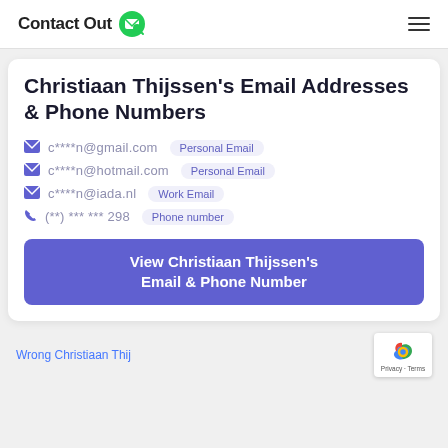ContactOut
Christiaan Thijssen's Email Addresses & Phone Numbers
c****n@gmail.com  Personal Email
c****n@hotmail.com  Personal Email
c****n@iada.nl  Work Email
(**) *** *** 298  Phone number
View Christiaan Thijssen's Email & Phone Number
Wrong Christiaan Thij